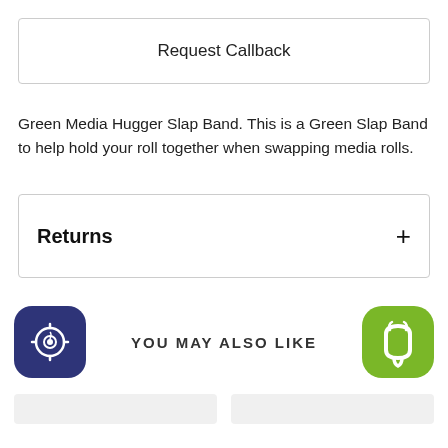Request Callback
Green Media Hugger Slap Band. This is a Green Slap Band to help hold your roll together when swapping media rolls.
Returns
YOU MAY ALSO LIKE